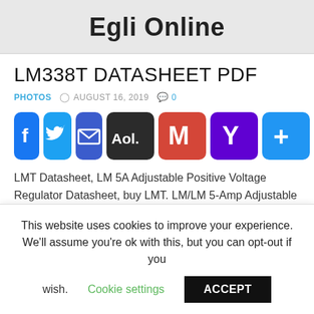Egli Online
LM338T DATASHEET PDF
PHOTOS  © AUGUST 16, 2019  💬 0
[Figure (infographic): Social share buttons: Facebook, Twitter, Email, AOL, Gmail, Yahoo, More (+)]
LMT Datasheet, LM 5A Adjustable Positive Voltage Regulator Datasheet, buy LMT. LM/LM 5-Amp Adjustable Regulators. General Description. The LM series of adjustable 3-terminal positive regulators are capable of LM/LM 5A...
This website uses cookies to improve your experience. We'll assume you're ok with this, but you can opt-out if you wish.  Cookie settings  ACCEPT